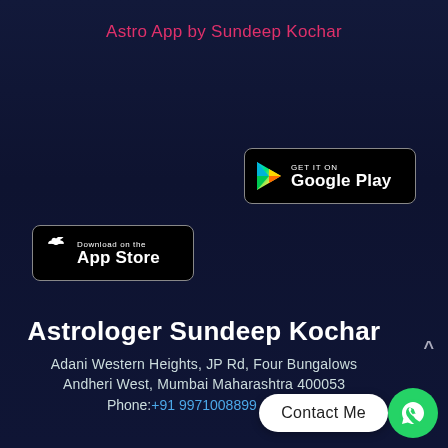Astro App by Sundeep Kochar
[Figure (logo): Google Play Store download badge - black rounded rectangle with Google Play logo (colorful triangle) and 'GET IT ON Google Play' text]
[Figure (logo): Apple App Store download badge - black rounded rectangle with Apple logo and 'Download on the App Store' text]
Astrologer Sundeep Kochar
Adani Western Heights, JP Rd, Four Bungalows
Andheri West, Mumbai Maharashtra 400053
Phone: +91 9971008899 (Map)
Contact Me